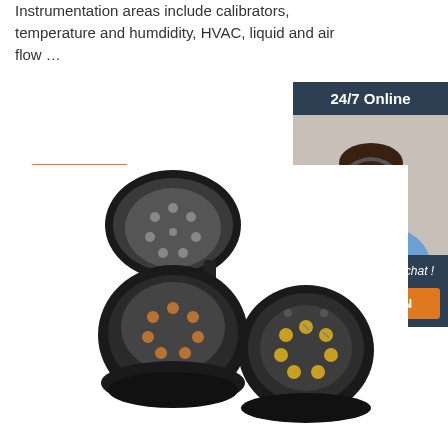Instrumentation areas include calibrators, temperature and humdidity, HVAC, liquid and air flow …
[Figure (other): Orange 'Get Price' button]
[Figure (other): Sidebar with '24/7 Online' header, photo of customer support agent with headset, 'Click here for free chat!' text, and orange 'QUOTATION' button on dark blue background]
[Figure (photo): Two black electrical trailer connectors (7-pin plug and socket), one open showing pin layout and one showing terminal screws inside]